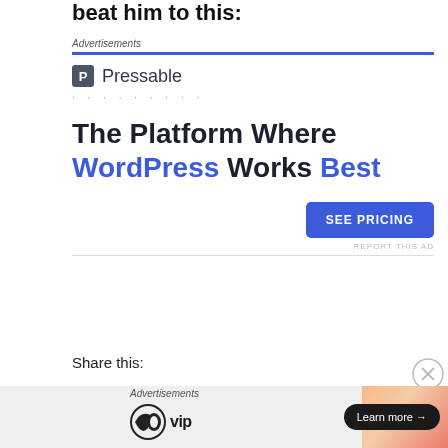beat him to this:
Advertisements
[Figure (infographic): Pressable advertisement: logo with 'P' icon and 'Pressable' text, dotted line, bold headline 'The Platform Where WordPress Works Best' with 'WordPress' and 'Best' in blue, and a blue 'SEE PRICING' button. 'REPORT THIS AD' link at bottom right.]
Share this:
Advertisements
[Figure (infographic): WordPress VIP advertisement banner with wpvip logo on left and gradient orange/pink panel on right showing 'Learn more →' button.]